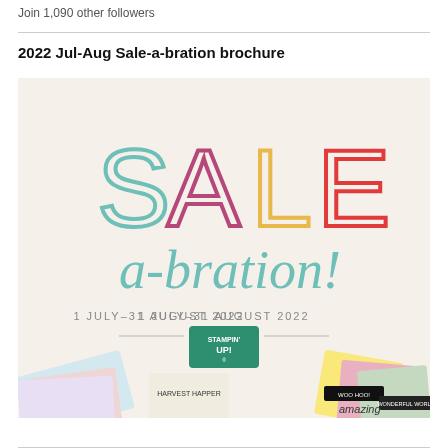Join 1,090 other followers
2022 Jul-Aug Sale-a-bration brochure
[Figure (photo): Stampin' Up! Sale-a-bration brochure cover image for 1 July–31 August 2022, showing large colourful SALE text in teal, purple, yellow and red letters, italic 'a-bration!' subtitle in teal, the date '1 JULY–31 AUGUST 2022', the Stampin' Up! logo, and crafting products scattered around the bottom edge including patterned papers, stamp sets and cards.]